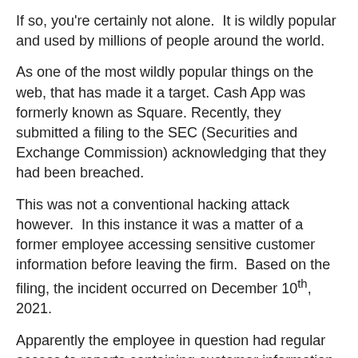If so, you're certainly not alone.  It is wildly popular and used by millions of people around the world.
As one of the most wildly popular things on the web, that has made it a target. Cash App was formerly known as Square. Recently, they submitted a filing to the SEC (Securities and Exchange Commission) acknowledging that they had been breached.
This was not a conventional hacking attack however.  In this instance it was a matter of a former employee accessing sensitive customer information before leaving the firm.  Based on the filing, the incident occurred on December 10th, 2021.
Apparently the employee in question had regular access to reports containing customer information as part of their job duties. Upon leaving the firm, the employee somehow re-gained access to that information.
The information taken from Cash App includes: